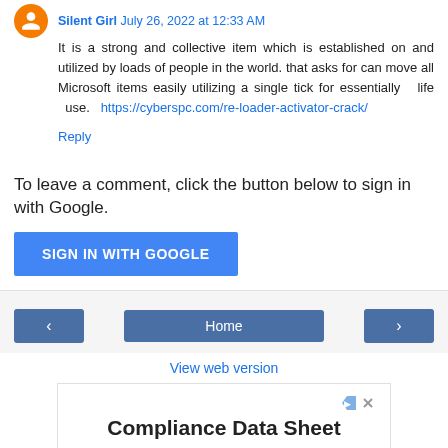Silent Girl July 26, 2022 at 12:33 AM
It is a strong and collective item which is established on and utilized by loads of people in the world. that asks for can move all Microsoft items easily utilizing a single tick for essentially life use. https://cyberspc.com/re-loader-activator-crack/
Reply
To leave a comment, click the button below to sign in with Google.
SIGN IN WITH GOOGLE
Home
View web version
Compliance Data Sheet